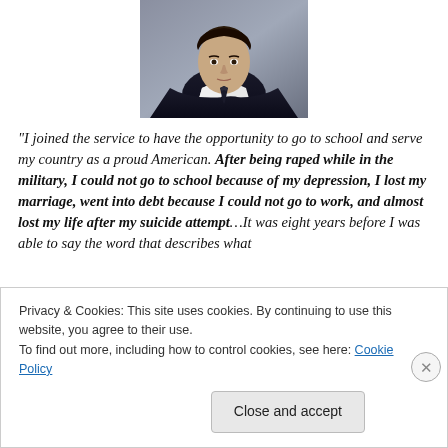[Figure (photo): Portrait photo of a young person in dark clothing with white collar, formal/school photo style]
“I joined the service to have the opportunity to go to school and serve my country as a proud American. After being raped while in the military, I could not go to school because of my depression, I lost my marriage, went into debt because I could not go to work, and almost lost my life after my suicide attempt…It was eight years before I was able to say the word that describes what
Privacy & Cookies: This site uses cookies. By continuing to use this website, you agree to their use.
To find out more, including how to control cookies, see here: Cookie Policy
Close and accept